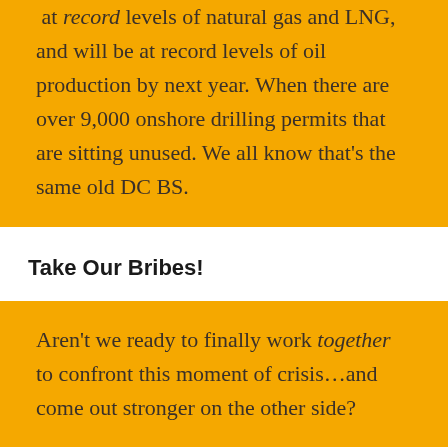...increase production, which we are already at record levels of natural gas and LNG, and will be at record levels of oil production by next year. When there are over 9,000 onshore drilling permits that are sitting unused. We all know that's the same old DC BS.
Take Our Bribes!
Aren't we ready to finally work together to confront this moment of crisis…and come out stronger on the other side?